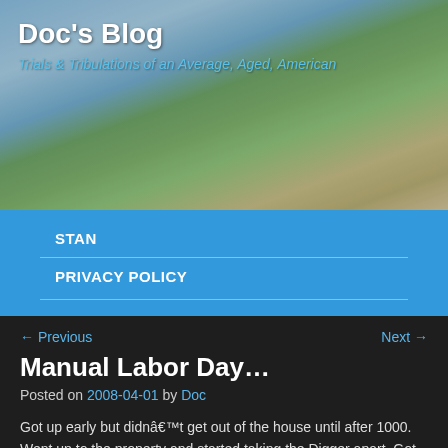Doc's Blog
Trials & Tribulations of an Average, Aged, American
STAN
PRIVACY POLICY
← Previous
Next →
Manual Labor Day…
Posted on 2008-04-01 by Doc
Got up early but didnâ€™t get out of the house until after 1000. Went up to the property and started taking the Digger apart. Got all the superstructure stuff I had to take off off and couldnâ€™t find the hose the hydraulic fluid was leaking from. So I started it up and moved it around some (standing up cause the seat was missing) and still couldnâ€™t find the leak. So I went back into Belfair and
Contact Us